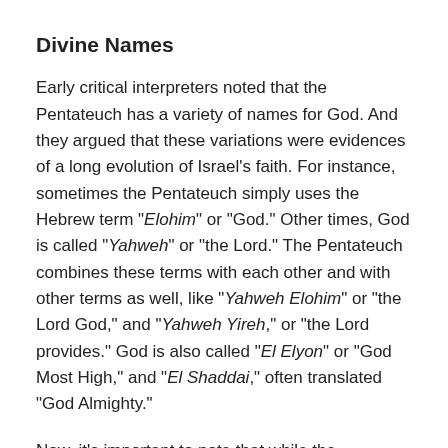Divine Names
Early critical interpreters noted that the Pentateuch has a variety of names for God. And they argued that these variations were evidences of a long evolution of Israel's faith. For instance, sometimes the Pentateuch simply uses the Hebrew term "Elohim" or "God." Other times, God is called "Yahweh" or "the Lord." The Pentateuch combines these terms with each other and with other terms as well, like "Yahweh Elohim" or "the Lord God," and "Yahweh Yireh," or "the Lord provides." God is also called "El Elyon" or "God Most High," and "El Shaddai," often translated "God Almighty."
Now, it's important to note that while the Pentateuch does reflect a variety of names for God, this does not